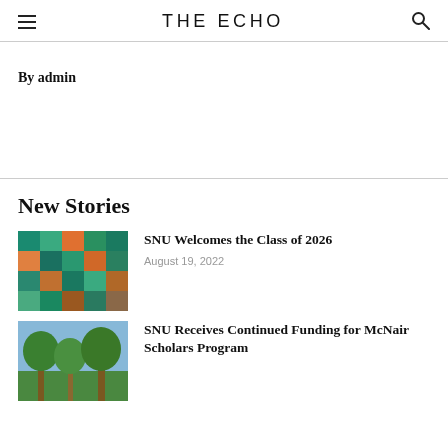THE ECHO
By admin
New Stories
[Figure (photo): Colorful chairs or seats viewed from above, featuring teal, orange, green and brown colors]
SNU Welcomes the Class of 2026
August 19, 2022
[Figure (photo): Outdoor photo with trees and blue sky, partial view]
SNU Receives Continued Funding for McNair Scholars Program